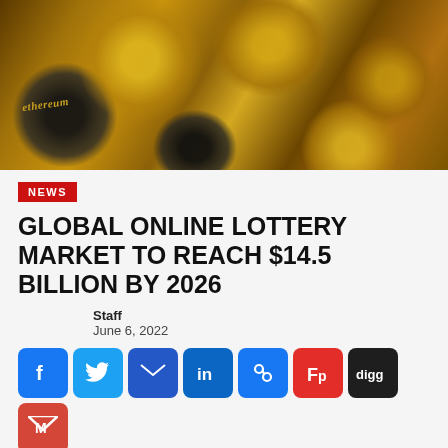[Figure (photo): Gold and dark cryptocurrency coins including Ethereum coins piled together]
NEWS
GLOBAL ONLINE LOTTERY MARKET TO REACH $14.5 BILLION BY 2026
Staff
June 6, 2022
[Figure (infographic): Social media share buttons: Facebook, Twitter, Email, LinkedIn, Link, Flipboard, Digg, Gmail, Outlook, More]
Abstract: What`s New for 2022? -Global